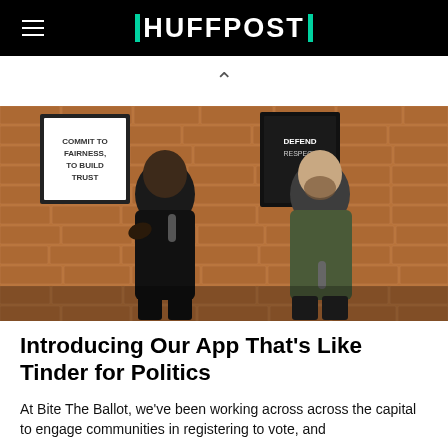HUFFPOST
[Figure (photo): Two men seated on chairs against a brick wall background with framed motivational posters. The man on the left is Black, wearing a black outfit and holding a microphone, appearing to speak. The man on the right has a beard, wears an olive/dark green sweater, and holds a microphone in his lap.]
Introducing Our App That's Like Tinder for Politics
At Bite The Ballot, we've been working across across the capital to engage communities in registering to vote, and